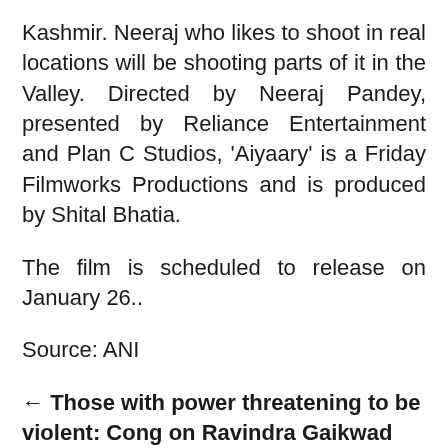Kashmir. Neeraj who likes to shoot in real locations will be shooting parts of it in the Valley. Directed by Neeraj Pandey, presented by Reliance Entertainment and Plan C Studios, 'Aiyaary' is a Friday Filmworks Productions and is produced by Shital Bhatia.
The film is scheduled to release on January 26..
Source: ANI
← Those with power threatening to be violent: Cong on Ravindra Gaikwad issue
Syria calls U.S. military strike